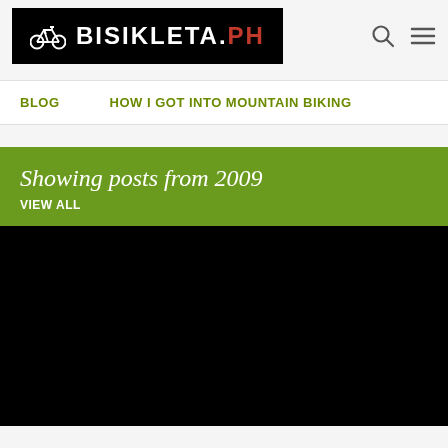BISIKLETA.PH
BLOG  HOW I GOT INTO MOUNTAIN BIKING
Showing posts from 2009
VIEW ALL
[Figure (photo): Black image area, likely a post thumbnail or video placeholder]